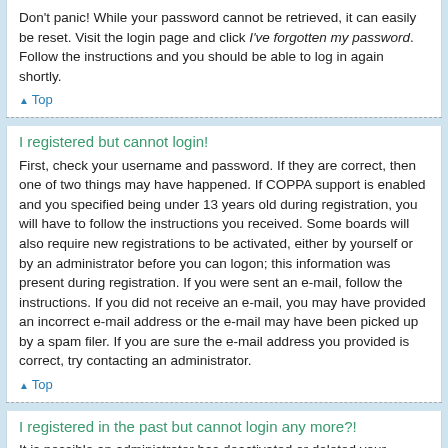Don't panic! While your password cannot be retrieved, it can easily be reset. Visit the login page and click I've forgotten my password. Follow the instructions and you should be able to log in again shortly.
▲ Top
I registered but cannot login!
First, check your username and password. If they are correct, then one of two things may have happened. If COPPA support is enabled and you specified being under 13 years old during registration, you will have to follow the instructions you received. Some boards will also require new registrations to be activated, either by yourself or by an administrator before you can logon; this information was present during registration. If you were sent an e-mail, follow the instructions. If you did not receive an e-mail, you may have provided an incorrect e-mail address or the e-mail may have been picked up by a spam filer. If you are sure the e-mail address you provided is correct, try contacting an administrator.
▲ Top
I registered in the past but cannot login any more?!
It is possible an administrator has deactivated or deleted your account for some reason. Also, many boards periodically remove users who have not posted for a long time to reduce the size of the database. If this has happened, try registering again and being more involved in discussions.
▲ Top
What is COPPA?
COPPA, or the Child Online Privacy and Protection Act of 1998, is a law in the